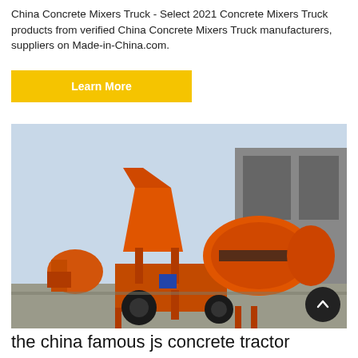China Concrete Mixers Truck - Select 2021 Concrete Mixers Truck products from verified China Concrete Mixers Truck manufacturers, suppliers on Made-in-China.com.
Learn More
[Figure (photo): Orange concrete mixer machine (drum mixer) on wheels, parked outdoors in front of an industrial building. A second orange mixer is visible in the background on the left.]
the china famous js concrete tractor